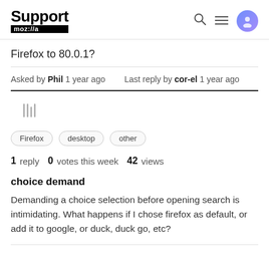Support moz://a
Firefox to 80.0.1?
Asked by Phil 1 year ago   Last reply by cor-el 1 year ago
[Figure (other): Bookmark/library icon]
Firefox   desktop   other
1 reply   0 votes this week   42 views
choice demand
Demanding a choice selection before opening search is intimidating. What happens if I chose firefox as default, or add it to google, or duck, duck go, etc?